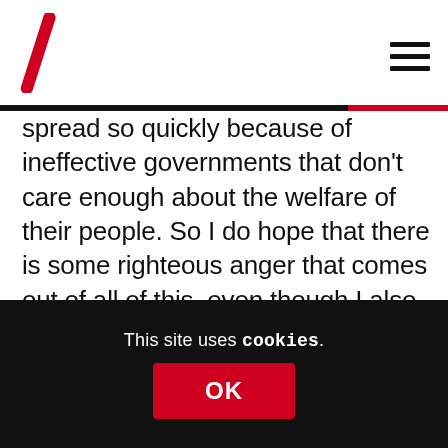spread so quickly because of ineffective governments that don’t care enough about the welfare of their people. So I do hope that there is some righteous anger that comes out of all of this, even though I also recognise that it is hard. I’m still eating meat, even though I have these ideas in my head about it being disgusting and what’s right and wrong, but it’s just hard to make changes! We just need to find more ways to channel our anger, maybe. Things like the Black Lives
This site uses cookies.
OK